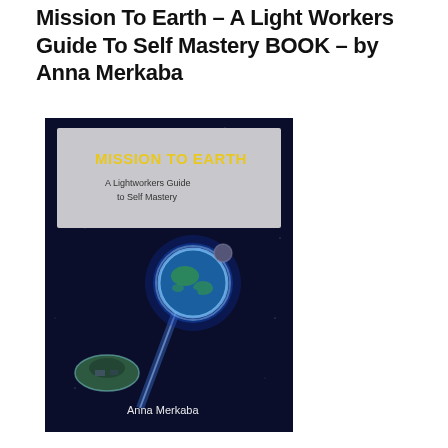Mission To Earth – A Light Workers Guide To Self Mastery BOOK – by Anna Merkaba
[Figure (illustration): Book cover for 'Mission To Earth: A Lightworkers Guide to Self Mastery' by Anna Merkaba. Dark blue space background with glowing Earth and a spacecraft. Top section has light gray background with yellow bold title text 'MISSION TO EARTH' and subtitle 'A Lightworkers Guide to Self Mastery'. Author name 'Anna Merkaba' at bottom.]
Mission to Earth a Lightworkers Guide to Self Mastery by Anna Merkaba Why are you here? What are you doing on Earth? Who are you really? Why you